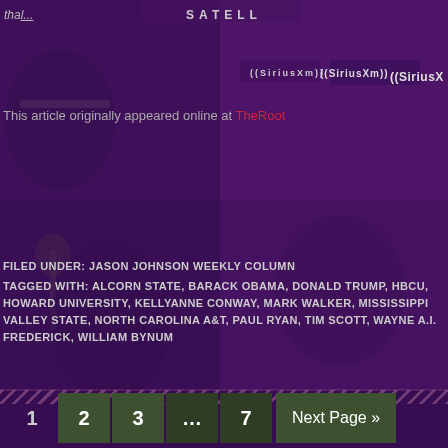[Figure (photo): Background collage of photos featuring people at what appears to be a SiriusXM satellite radio studio, overlaid with a purple/violet tint. Multiple photos of men, including one with glasses, with SiriusXM logos visible.]
This article originally appeared online at TheRoot
FILED UNDER: JASON JOHNSON WEEKLY COLUMN
TAGGED WITH: ALCORN STATE, BARACK OBAMA, DONALD TRUMP, HBCU, HOWARD UNIVERSITY, KELLYANNE CONWAY, MARK WALKER, MISSISSIPPI VALLEY STATE, NORTH CAROLINA A&T, PAUL RYAN, TIM SCOTT, WAYNE A.I. FREDERICK, WILLIAM BYNUM
1  2  3  …  7  Next Page »
Search this website…